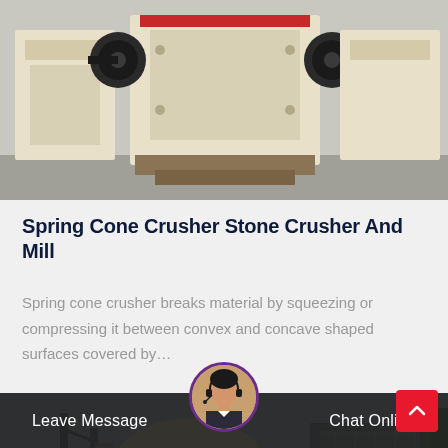[Figure (photo): Industrial cone/jaw crusher machinery — large beige-colored crushing units on a concrete floor, viewed from the front]
Spring Cone Crusher Stone Crusher And Mill
Spring cone crusher breaks material by squeezing or compressing it between convex and concave shaped surfaces covered by…
[Figure (photo): Industrial facility with a large dome-shaped tank, metal framework and industrial equipment under an overcast sky]
Leave Message
Chat Online